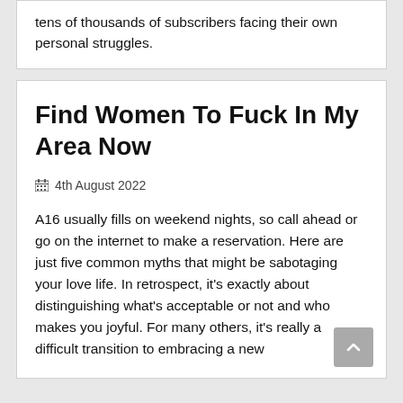tens of thousands of subscribers facing their own personal struggles.
Find Women To Fuck In My Area Now
4th August 2022
A16 usually fills on weekend nights, so call ahead or go on the internet to make a reservation. Here are just five common myths that might be sabotaging your love life. In retrospect, it's exactly about distinguishing what's acceptable or not and who makes you joyful. For many others, it's really a difficult transition to embracing a new